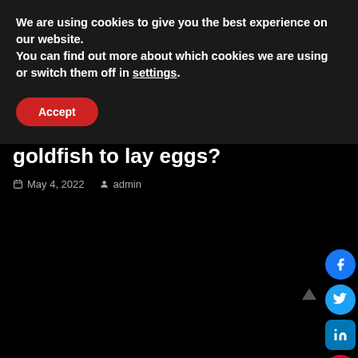We are using cookies to give you the best experience on our website.
You can find out more about which cookies we are using or switch them off in settings.
Accept
bowls, it is part of the reason why with short life spans (ammonia...
Read More »
FAQ
How long does it take for a goldfish to lay eggs?
May 4, 2022   admin